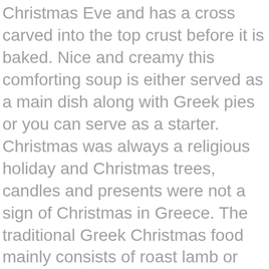Christmas Eve and has a cross carved into the top crust before it is baked. Nice and creamy this comforting soup is either served as a main dish along with Greek pies or you can serve as a starter. Christmas was always a religious holiday and Christmas trees, candles and presents were not a sign of Christmas in Greece. The traditional Greek Christmas food mainly consists of roast lamb or pork served with a spinach and cheese pie and salads/vegetables on the side. If you continue to use this site we will assume that you are happy with it. GO →. Copyright © 2021 Real Greek Recipes on the Brunch Pro Theme. Roast pork is the traditional Christmas meal during Christmas in Greece. “The holidays” in Greece is a longer period than just Christmas Day. Or Merry Christmas in Greek Explore the Christmas traditions of Greece. Design by GSM - Content by Blog Smart Agency. It is the made on Christmas Eve and has a cross carved into the top...